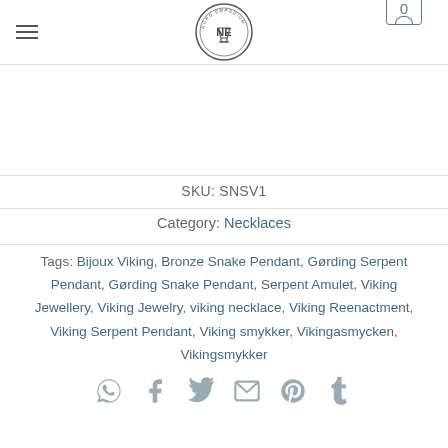Nord Emporium logo and navigation header
SKU: SNSV1
Category: Necklaces
Tags: Bijoux Viking, Bronze Snake Pendant, Gørding Serpent Pendant, Gørding Snake Pendant, Serpent Amulet, Viking Jewellery, Viking Jewelry, viking necklace, Viking Reenactment, Viking Serpent Pendant, Viking smykker, Vikingasmycken, Vikingsmykker
[Figure (other): Social share icons: WhatsApp, Facebook, Twitter, Email, Pinterest, Tumblr]